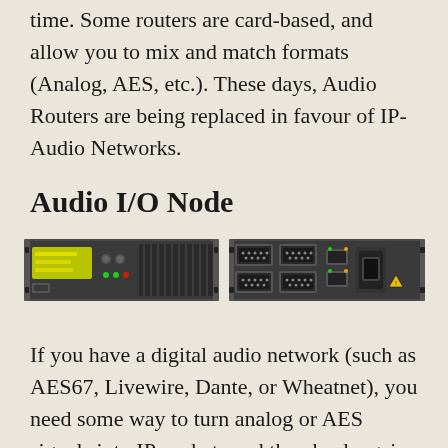time. Some routers are card-based, and allow you to mix and match formats (Analog, AES, etc.). These days, Audio Routers are being replaced in favour of IP-Audio Networks.
Audio I/O Node
[Figure (photo): Two views of an Audio I/O Node device: front panel on the left showing a rack-mounted unit with display and controls, and rear panel on the right showing multiple ports and connectors.]
If you have a digital audio network (such as AES67, Livewire, Dante, or Wheatnet), you need some way to turn analog or AES signals into IP packets and then back again. An “I/O Node”